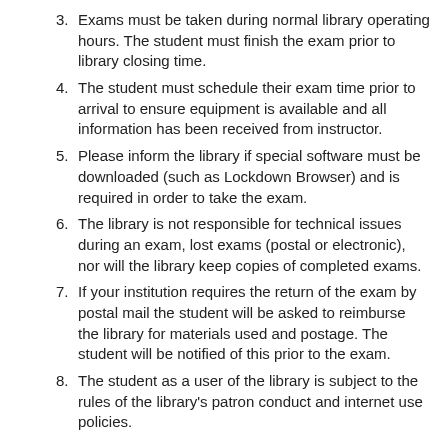3. Exams must be taken during normal library operating hours. The student must finish the exam prior to library closing time.
4. The student must schedule their exam time prior to arrival to ensure equipment is available and all information has been received from instructor.
5. Please inform the library if special software must be downloaded (such as Lockdown Browser) and is required in order to take the exam.
6. The library is not responsible for technical issues during an exam, lost exams (postal or electronic), nor will the library keep copies of completed exams.
7. If your institution requires the return of the exam by postal mail the student will be asked to reimburse the library for materials used and postage. The student will be notified of this prior to the exam.
8. The student as a user of the library is subject to the rules of the library's patron conduct and internet use policies.
Adopted by Library Board of Trustees 1/28/2021
Our Services